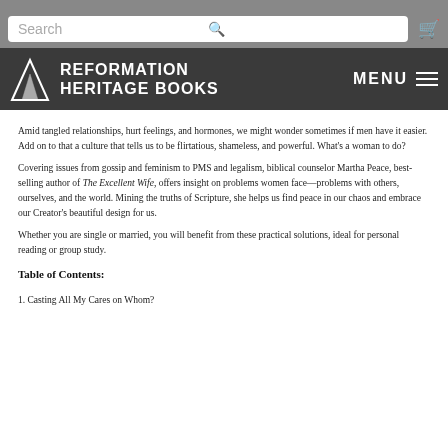Reformation Heritage Books
Amid tangled relationships, hurt feelings, and hormones, we might wonder sometimes if men have it easier. Add on to that a culture that tells us to be flirtatious, shameless, and powerful. What's a woman to do?
Covering issues from gossip and feminism to PMS and legalism, biblical counselor Martha Peace, best-selling author of The Excellent Wife, offers insight on problems women face—problems with others, ourselves, and the world. Mining the truths of Scripture, she helps us find peace in our chaos and embrace our Creator's beautiful design for us.
Whether you are single or married, you will benefit from these practical solutions, ideal for personal reading or group study.
Table of Contents:
1. Casting All My Cares on Whom?